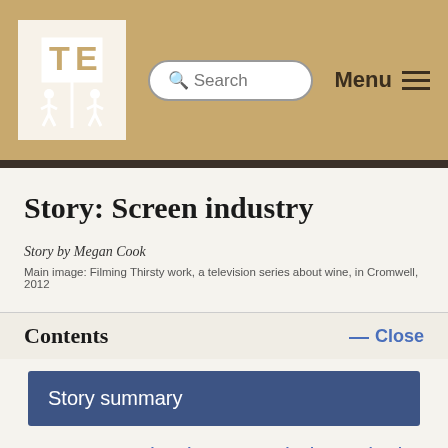Search Menu
Story: Screen industry
Story by Megan Cook
Main image: Filming Thirsty work, a television series about wine, in Cromwell, 2012
Contents — Close
Story summary
1. New Zealand's screen industry in the 2010s
2. The early years, 1895 to 1970s